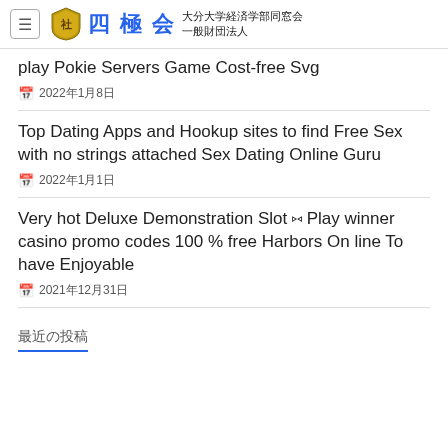≡ 四極会 大分大学経済学部同窓会 一般財団法人
play Pokie Servers Game Cost-free Svg
📅 2022年1月8日
Top Dating Apps and Hookup sites to find Free Sex with no strings attached Sex Dating Online Guru
📅 2022年1月1日
Very hot Deluxe Demonstration Slot ⑅ Play winner casino promo codes 100 % free Harbors On line To have Enjoyable
📅 2021年12月31日
最近の投稿